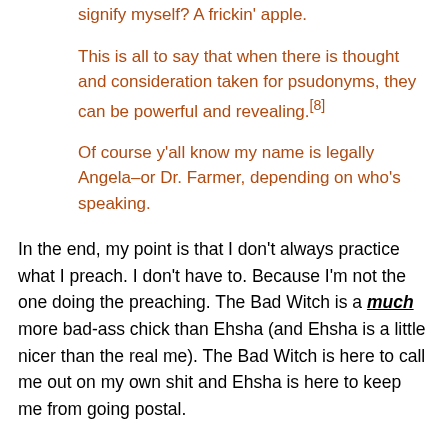signify myself? A frickin' apple.
This is all to say that when there is thought and consideration taken for psudonyms, they can be powerful and revealing.[8]
Of course y'all know my name is legally Angela–or Dr. Farmer, depending on who's speaking.
In the end, my point is that I don't always practice what I preach. I don't have to. Because I'm not the one doing the preaching. The Bad Witch is a much more bad-ass chick than Ehsha (and Ehsha is a little nicer than the real me). The Bad Witch is here to call me out on my own shit and Ehsha is here to keep me from going postal.
"Schizophrenic?" you ask? As a fan of Deleuze & Guattari, I say, "Abso-fricking-lootly." I wouldn't have it any other